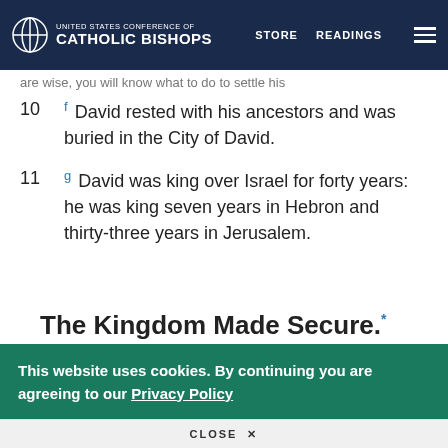UNITED STATES CONFERENCE OF CATHOLIC BISHOPS — STORE  READINGS
are wise, you will know what to do to settle his
10  f David rested with his ancestors and was buried in the City of David.
11  g David was king over Israel for forty years: he was king seven years in Hebron and thirty-three years in Jerusalem.
The Kingdom Made Secure.*
This website uses cookies. By continuing you are agreeing to our Privacy Policy
CLOSE